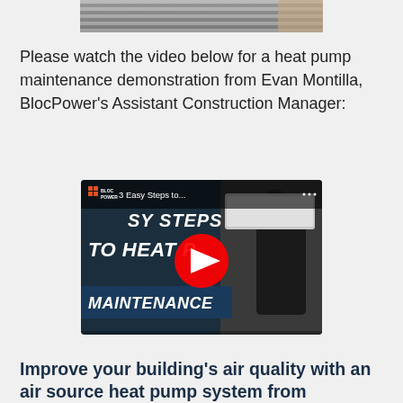[Figure (photo): Partial photo of a heat pump unit at the top of the page, showing horizontal slats/vents]
Please watch the video below for a heat pump maintenance demonstration from Evan Montilla, BlocPower's Assistant Construction Manager:
[Figure (screenshot): YouTube video thumbnail showing '3 Easy Steps to...' heat pump maintenance video from BlocPower. Text on screen reads 'SY STEPS', 'TO HEAT P... MAINTENANCE'. Features a red YouTube play button in the center, BlocPower logo in top left, three vertical dots in top right, and a person in the background working on a heat pump unit.]
Improve your building's air quality with an air source heat pump system from